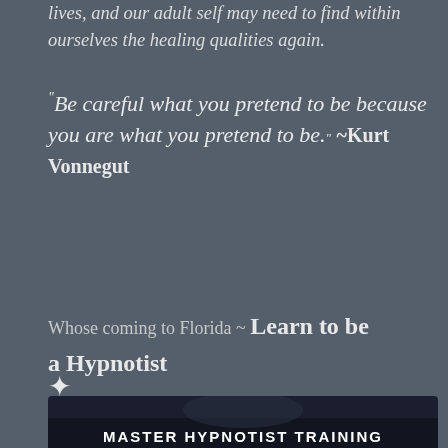lives, and our adult self may need to find within ourselves the healing qualities again.
“Be careful what you pretend to be because you are what you pretend to be.” ~Kurt Vonnegut
Whose coming to Florida ~ Learn to be a Hypnotist
✨
http://www.tarasutphen.com/clinical_hyp_tr_102.html
[Figure (photo): Bottom banner image with text MASTER HYPNOTIST TRAINING on dark background]